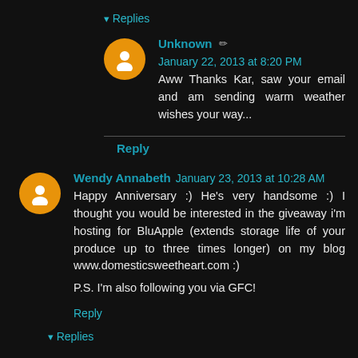▾ Replies
Unknown ✏ January 22, 2013 at 8:20 PM
Aww Thanks Kar, saw your email and am sending warm weather wishes your way...
Reply
Wendy Annabeth January 23, 2013 at 10:28 AM
Happy Anniversary :) He's very handsome :) I thought you would be interested in the giveaway i'm hosting for BluApple (extends storage life of your produce up to three times longer) on my blog www.domesticsweetheart.com :)
P.S. I'm also following you via GFC!
Reply
▾ Replies